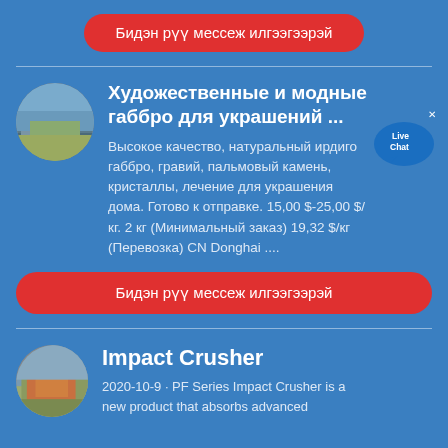Бидэн рүү мессеж илгээгээрэй
Художественные и модные габбро для украшений ...
[Figure (photo): Oval thumbnail photo of mining/quarry equipment]
Высокое качество, натуральный ирдиго габбро, гравий, пальмовый камень, кристаллы, лечение для украшения дома. Готово к отправке. 15,00 $-25,00 $/кг. 2 кг (Минимальный заказ) 19,32 $/кг (Перевозка) CN Donghai ....
[Figure (infographic): Live Chat bubble icon with x close button]
Бидэн рүү мессеж илгээгээрэй
Impact Crusher
[Figure (photo): Oval thumbnail photo of impact crusher machinery]
2020-10-9 · PF Series Impact Crusher is a new product that absorbs advanced...